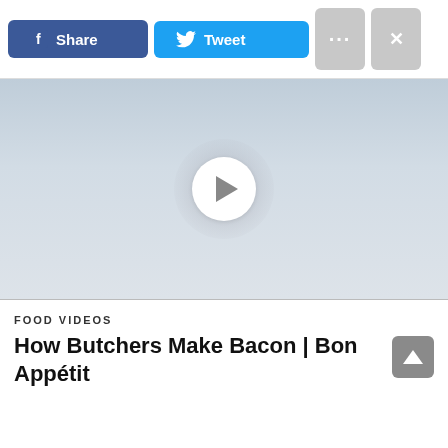[Figure (screenshot): Social sharing toolbar with Facebook Share button (blue), Twitter Tweet button (light blue), a dots menu button (gray), and an X close button (gray)]
[Figure (screenshot): Video player placeholder with light gray/blue gradient background and a white circular play button in the center]
FOOD VIDEOS
How Butchers Make Bacon | Bon Appétit